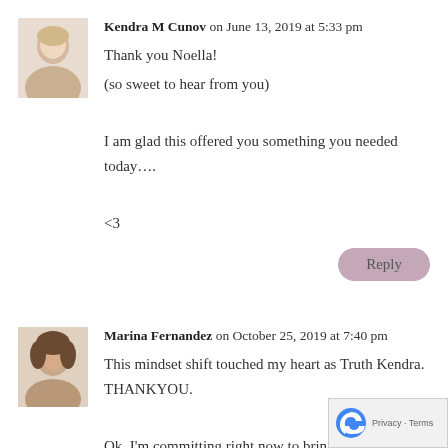[Figure (photo): Avatar photo of Kendra M Cunov, a woman with light hair on white background]
Kendra M Cunov on June 13, 2019 at 5:33 pm
Thank you Noella!
(so sweet to hear from you)
I am glad this offered you something you needed today….
<3
Reply
[Figure (photo): Avatar photo of Marina Fernandez, a woman with dark curly hair]
Marina Fernandez on October 25, 2019 at 7:40 pm
This mindset shift touched my heart as Truth Kendra. THANKYOU.
Ok, I'm committing right now to bring to the